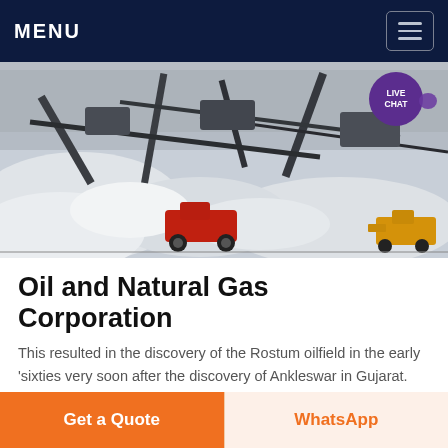MENU
[Figure (photo): Aerial view of a large open-pit mining operation with conveyor systems, construction equipment, trucks, and excavated white/grey rock piles. A red dump truck is visible in the foreground. LIVE CHAT bubble overlay in top-right corner.]
Oil and Natural Gas Corporation
This resulted in the discovery of the Rostum oilfield in the early 'sixties very soon after the discovery of Ankleswar in Gujarat. This was the very first investment by the India...
Get a Quote
WhatsApp